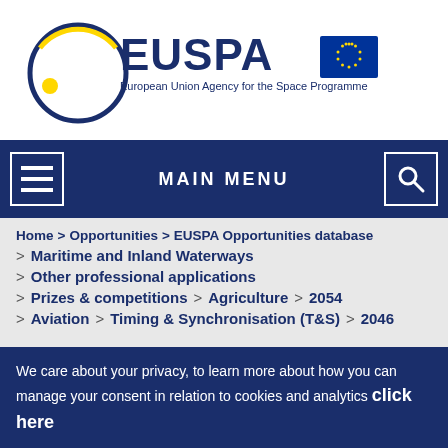[Figure (logo): EUSPA - European Union Agency for the Space Programme logo with circular emblem and EU flag]
MAIN MENU
Home > Opportunities > EUSPA Opportunities database > Maritime and Inland Waterways
Other professional applications
Prizes & competitions > Agriculture > 2054
Aviation > Timing & Synchronisation (T&S) > 2046
We care about your privacy, to learn more about how you can manage your consent in relation to cookies and analytics click here